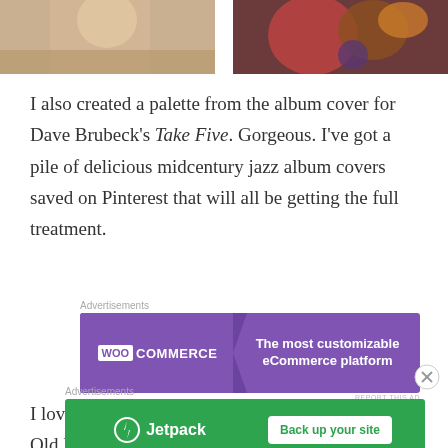[Figure (photo): Two cropped photos side by side at top: left shows a person, right shows a colorful abstract/still-life painting]
I also created a palette from the album cover for Dave Brubeck's Take Five. Gorgeous. I've got a pile of delicious midcentury jazz album covers saved on Pinterest that will all be getting the full treatment.
Advertisements
[Figure (screenshot): WooCommerce advertisement banner: purple background with WooCommerce logo on left and text 'The most customizable eCommerce platform' on right]
I love the notion of working in the method of the Old Masters, creating tone from existing tone, but with a 21st-century machine. Best of both worlds.
Advertisements
[Figure (screenshot): Jetpack advertisement banner: green background with Jetpack logo and 'Back up your site' button]